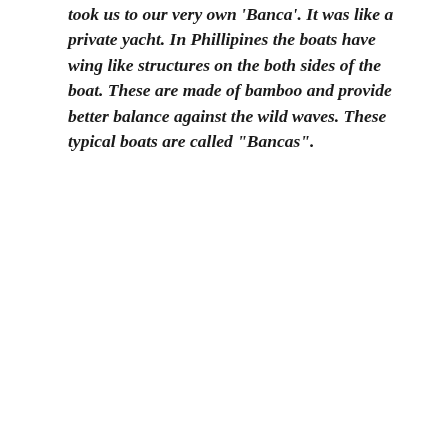took us to our very own 'Banca'. It was like a private yacht. In Phillipines the boats have wing like structures on the both sides of the boat. These are made of bamboo and provide better balance against the wild waves. These typical boats are called "Bancas".